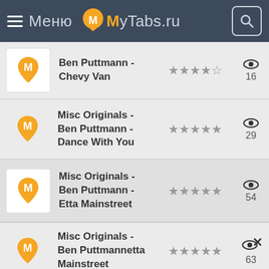Меню MyTabs.ru
Ben Puttmann - Chevy Van
Misc Originals - Ben Puttmann - Dance With You
Misc Originals - Ben Puttmann - Etta Mainstreet
Misc Originals - Ben Puttmannetta Mainstreet